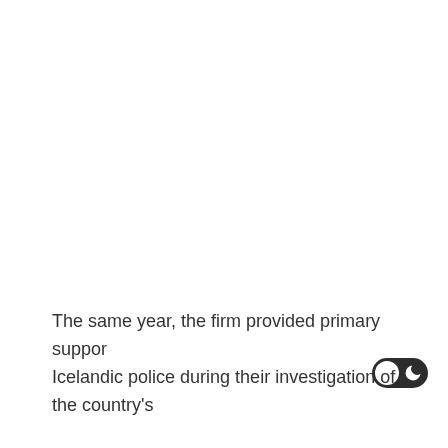The same year, the firm provided primary support Icelandic police during their investigation of the country's